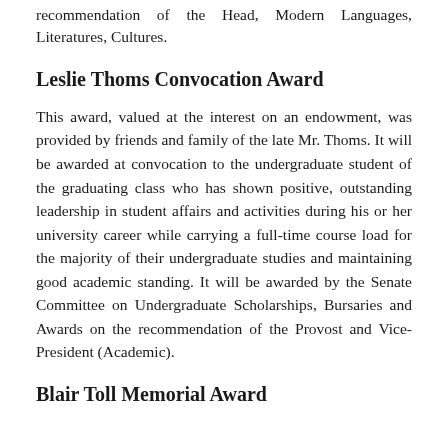recommendation of the Head, Modern Languages, Literatures, Cultures.
Leslie Thoms Convocation Award
This award, valued at the interest on an endowment, was provided by friends and family of the late Mr. Thoms. It will be awarded at convocation to the undergraduate student of the graduating class who has shown positive, outstanding leadership in student affairs and activities during his or her university career while carrying a full-time course load for the majority of their undergraduate studies and maintaining good academic standing. It will be awarded by the Senate Committee on Undergraduate Scholarships, Bursaries and Awards on the recommendation of the Provost and Vice-President (Academic).
Blair Toll Memorial Award